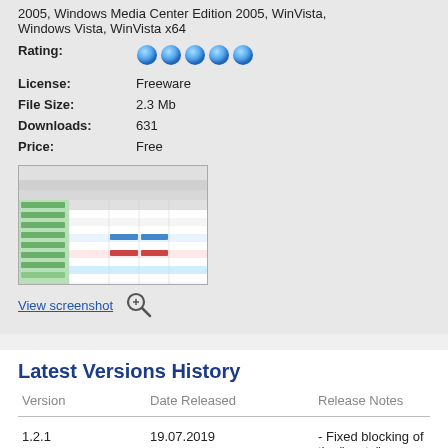2005, Windows Media Center Edition 2005, WinVista, Windows Vista, WinVista x64
Rating:
[Figure (other): Five blue star/bubble rating icons]
License: Freeware
File Size: 2.3 Mb
Downloads: 631
Price: Free
[Figure (screenshot): Screenshot of a spreadsheet application with green and colored rows]
View screenshot
Latest Versions History
| Version | Date Released | Release Notes |
| --- | --- | --- |
| 1.2.1 | 19.07.2019 | - Fixed blocking of the "paste" function in the cell editor. - Fixed localization errors. - Fixed minor bugs. |